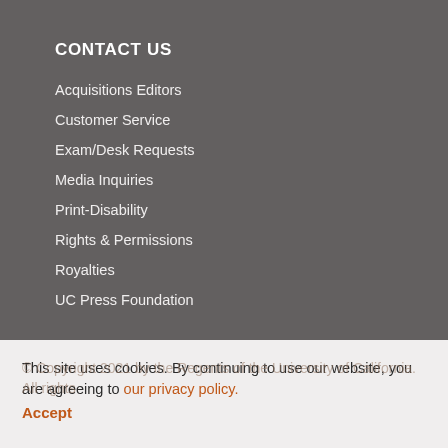CONTACT US
Acquisitions Editors
Customer Service
Exam/Desk Requests
Media Inquiries
Print-Disability
Rights & Permissions
Royalties
UC Press Foundation
This site uses cookies. By continuing to use our website, you are agreeing to our privacy policy. Accept
© Copyright 2021 by the Regents of the University of California. All rights